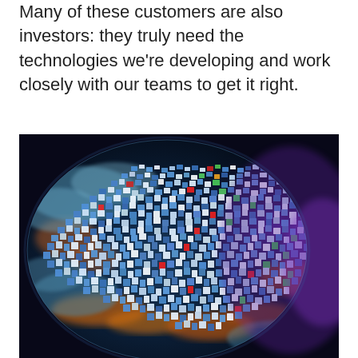Many of these customers are also investors: they truly need the technologies we're developing and work closely with our teams to get it right.
[Figure (photo): A stylized 3D rendering of Earth from space, with a dense mosaic of colorful digital tiles/icons overlaid across North America, suggesting a network of digital content or data connections. The globe glows with city lights in orange and the atmosphere is lit in blue and purple hues.]